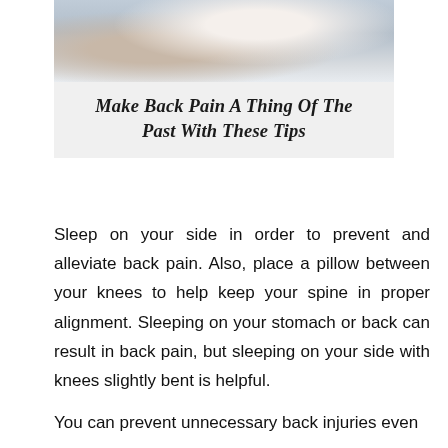[Figure (photo): Photo of a person sitting holding their back/neck in pain, soft background with light colors]
Make Back Pain A Thing Of The Past With These Tips
Sleep on your side in order to prevent and alleviate back pain. Also, place a pillow between your knees to help keep your spine in proper alignment. Sleeping on your stomach or back can result in back pain, but sleeping on your side with knees slightly bent is helpful.
You can prevent unnecessary back injuries even